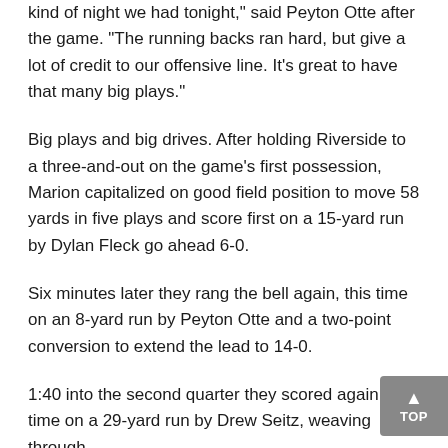kind of night we had tonight," said Peyton Otte after the game.  "The running backs ran hard, but give a lot of credit to our offensive line.  It's great to have that many big plays."
Big plays and big drives.  After holding Riverside to a three-and-out on the game's first possession, Marion capitalized on good field position to move 58 yards in five plays and score first on a 15-yard run by Dylan Fleck go ahead 6-0.
Six minutes later they rang the bell again, this time on an 8-yard run by Peyton Otte and a two-point conversion to extend the lead to 14-0.
1:40 into the second quarter they scored again, this time on a 29-yard run by Drew Seitz, weaving through